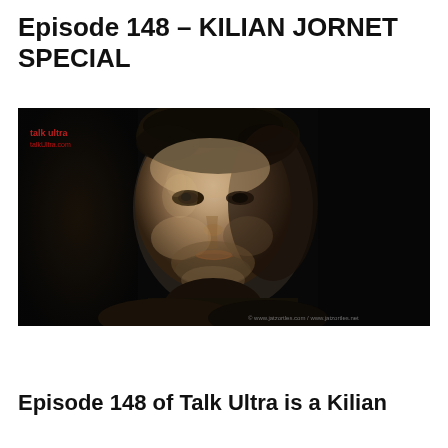Episode 148 – KILIAN JORNET SPECIAL
[Figure (photo): Black and white close-up portrait photograph of a man (Kilian Jornet) with dark curly hair, looking directly at the camera against a dark background. A small red logo/watermark reading 'Talk Ultra' and 'talkUltra.com' is visible in the top-left corner of the image. A copyright notice reading '© www.jatzortles.com / www.jatzortles.net' appears in the bottom-right corner.]
Episode 148 of Talk Ultra is a Kilian